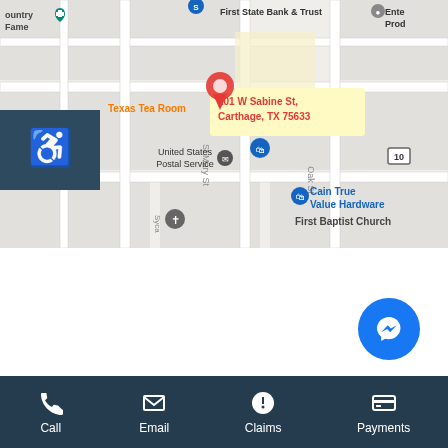[Figure (map): Google Maps view of downtown Carthage, TX showing 101 W Sabine St location pin, with nearby landmarks: First State Bank & Trust, Texas Tea Room, Panola County Courthouse, United States Postal Service, Cain True Value Hardware, First Baptist Church. Address callout reads: 101 W Sabine St, Carthage, TX 75633.]
Seven Points Office
1015 E Cedar Creek Pkwy
Seven Points, TX 75143
Call  Email  Claims  Payments